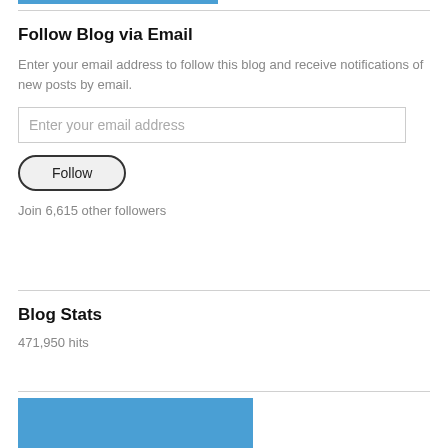Follow Blog via Email
Enter your email address to follow this blog and receive notifications of new posts by email.
Enter your email address
Follow
Join 6,615 other followers
Blog Stats
471,950 hits